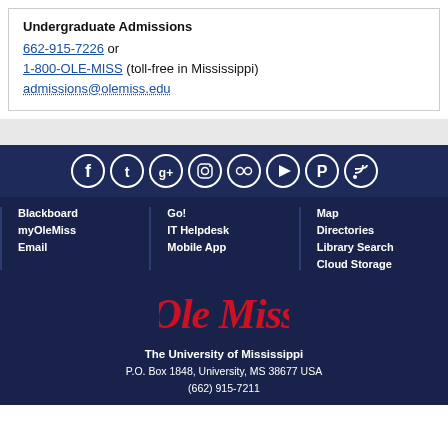Undergraduate Admissions
662-915-7226 or
1-800-OLE-MISS (toll-free in Mississippi)
admissions@olemiss.edu
[Figure (other): Social media icons row: Facebook, Twitter, Google+, Instagram, Flickr, YouTube, Pinterest, RSS]
Blackboard
myOleMiss
Email
Go!
IT Helpdesk
Mobile App
Map
Directories
Library Search
Cloud Storage
[Figure (logo): Ole Miss script logo in red]
The University of Mississippi
P.O. Box 1848, University, MS 38677 USA
(662) 915-7211